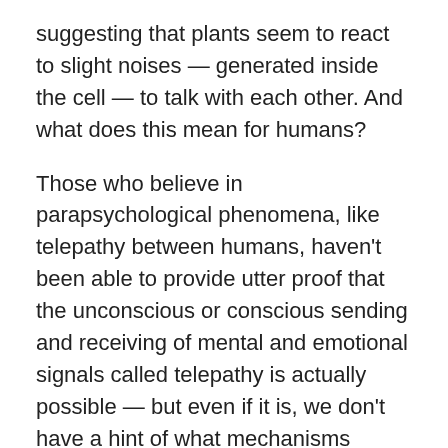suggesting that plants seem to react to slight noises — generated inside the cell — to talk with each other. And what does this mean for humans?
Those who believe in parapsychological phenomena, like telepathy between humans, haven't been able to provide utter proof that the unconscious or conscious sending and receiving of mental and emotional signals called telepathy is actually possible — but even if it is, we don't have a hint of what mechanisms would explain it.
Senior Scientist at The Institute of Noetic Sciences, Dean Radin, has suggested that quantum mechanics will provide an explanation of how telepathy works. Maybe delving deeper into the way other organisms communicate will also help us sort out the mystery of telepathy among humans.